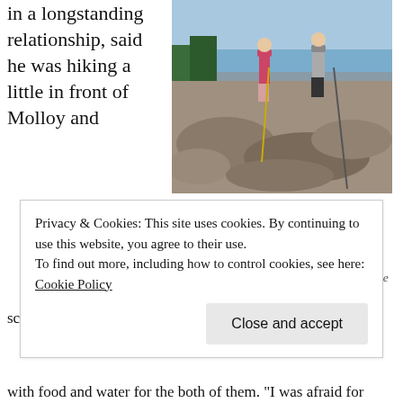in a longstanding relationship, said he was hiking a little in front of Molloy and scoping out the steep section of trail for a safe way down
[Figure (photo): Two people standing on rocky peak of Pemetic Mountain in Acadia, one wearing pink and one in grey shirt and black shorts, with trees and water visible in background.]
John Candela and Kerrie Molloy stand on the peak of Pemetic Mountain in Acadia on July 25. Molloy later suffered serious injuries during the descent of the peak. (Photo courtesy of John Candela and Kerrie Molloy)
Privacy & Cookies: This site uses cookies. By continuing to use this website, you agree to their use.
To find out more, including how to control cookies, see here: Cookie Policy
with food and water for the both of them. "I was afraid for